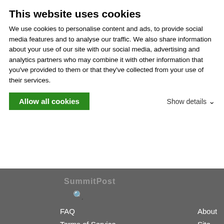This website uses cookies
We use cookies to personalise content and ads, to provide social media features and to analyse our traffic. We also share information about your use of our site with our social media, advertising and analytics partners who may combine it with other information that you've provided to them or that they've collected from your use of their services.
Allow all cookies
Show details
SummitPost
FAQ
About
Terms of Service
Site Geo-Map
Contact
TELL OTHERS ABOUT SP!
"I love deadlines. I like the whooshing sound they make as they fly by."  –Douglas Adams
© 2006-2021 SummitPost.org. All Rights Reserved.